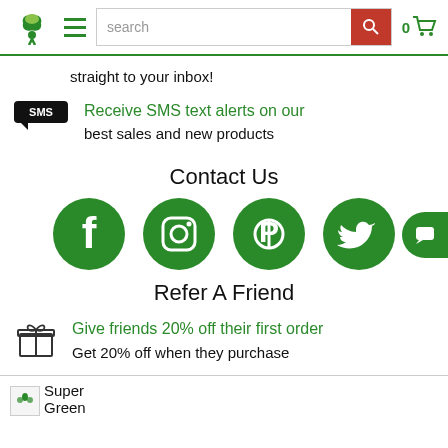[Figure (screenshot): Website header with green leaf logo, hamburger menu, search bar with orange search button, and cart icon showing 0 items]
straight to your inbox!
Receive SMS text alerts on our best sales and new products
Contact Us
[Figure (illustration): Four green circular social media icons: Facebook, Instagram, Pinterest, Twitter]
Refer A Friend
Give friends 20% off their first order
Get 20% off when they purchase
[Figure (illustration): Small image placeholder labeled Super Green at bottom of page]